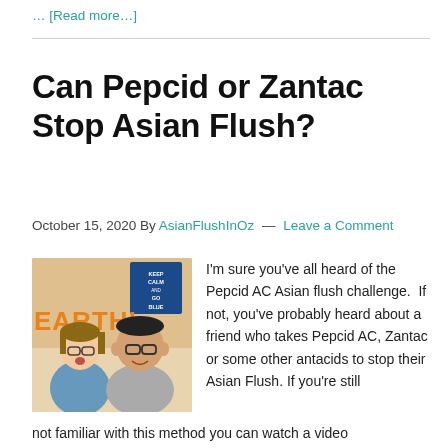… [Read more...]
Can Pepcid or Zantac Stop Asian Flush?
October 15, 2020 By AsianFlushInOz — Leave a Comment
[Figure (photo): Two people — a woman with glasses and a man with glasses — in front of a wall with a 'Keep Calm and Go Blue' poster and an 'EARTH' text background.]
I'm sure you've all heard of the Pepcid AC Asian flush challenge.  If not, you've probably heard about a friend who takes Pepcid AC, Zantac or some other antacids to stop their Asian Flush. If you're still not familiar with this method you can watch a video